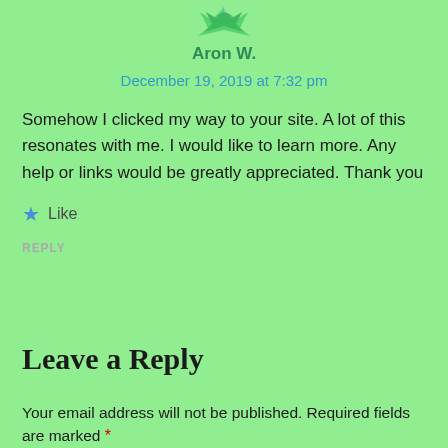[Figure (illustration): Partial green geometric avatar/logo at top center, cropped at top]
Aron W.
December 19, 2019 at 7:32 pm
Somehow I clicked my way to your site. A lot of this resonates with me. I would like to learn more. Any help or links would be greatly appreciated. Thank you
★ Like
REPLY
Leave a Reply
Your email address will not be published. Required fields are marked *